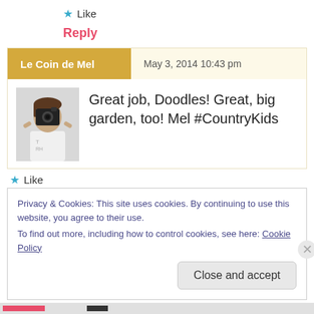★ Like
Reply
Le Coin de Mel   May 3, 2014 10:43 pm
[Figure (photo): Person holding a camera up to their face, wearing a white t-shirt]
Great job, Doodles! Great, big garden, too! Mel #CountryKids
★ Like
Reply
Privacy & Cookies: This site uses cookies. By continuing to use this website, you agree to their use. To find out more, including how to control cookies, see here: Cookie Policy
Close and accept